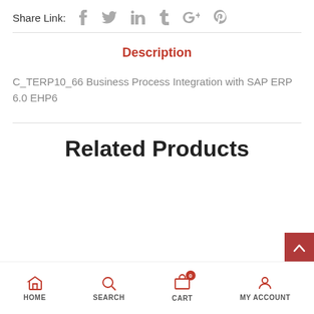Share Link:
Description
C_TERP10_66 Business Process Integration with SAP ERP 6.0 EHP6
Related Products
HOME  SEARCH  CART 0  MY ACCOUNT